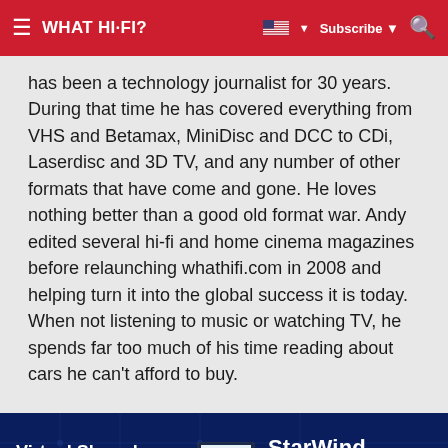WHAT HI-FI?
has been a technology journalist for 30 years. During that time he has covered everything from VHS and Betamax, MiniDisc and DCC to CDi, Laserdisc and 3D TV, and any number of other formats that have come and gone. He loves nothing better than a good old format war. Andy edited several hi-fi and home cinema magazines before relaunching whathifi.com in 2008 and helping turn it into the global success it is today. When not listening to music or watching TV, he spends far too much of his time reading about cars he can't afford to buy.
[Figure (infographic): StarWind Hyperconvergence advertisement banner: Virtual Shared Storage Solution with Transparent Licensing, featuring a laptop graphic and a GET FREE TRIAL button]